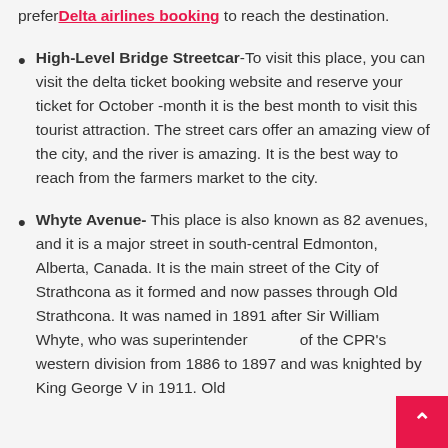prefer Delta airlines booking to reach the destination.
High-Level Bridge Streetcar- To visit this place, you can visit the delta ticket booking website and reserve your ticket for October -month it is the best month to visit this tourist attraction. The street cars offer an amazing view of the city, and the river is amazing. It is the best way to reach from the farmers market to the city.
Whyte Avenue- This place is also known as 82 avenues, and it is a major street in south-central Edmonton, Alberta, Canada. It is the main street of the City of Strathcona as it formed and now passes through Old Strathcona. It was named in 1891 after Sir William Whyte, who was superintendent of the CPR's western division from 1886 to 1897 and was knighted by King George V in 1911. Old